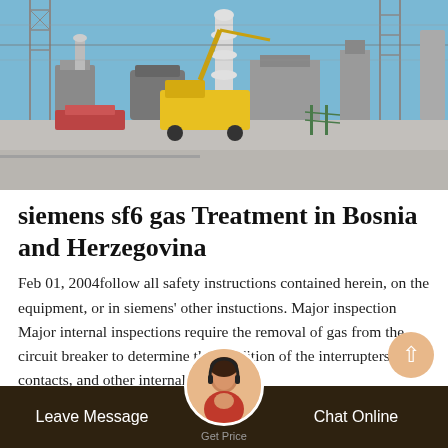[Figure (photo): Photo of an electrical substation with large transformers, circuit breakers, steel lattice towers, yellow truck/crane, and associated high-voltage equipment outdoors under a clear blue sky.]
siemens sf6 gas Treatment in Bosnia and Herzegovina
Feb 01, 2004follow all safety instructions contained herein, on the equipment, or in siemens' other instuctions. Major inspection Major internal inspections require the removal of gas from the circuit breaker to determine the condition of the interrupters, contacts, and other internal co...ts.